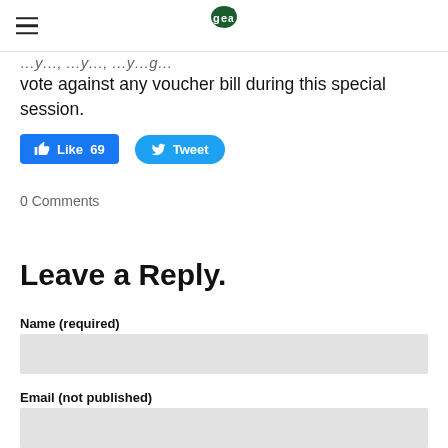GEA logo and navigation
vote against any voucher bill during this special session.
[Figure (other): Facebook Like button with count 69 and Twitter Tweet button]
0 Comments
Leave a Reply.
Name (required)
Email (not published)